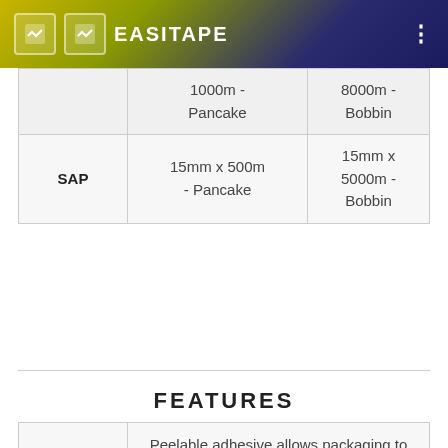EASITAPE
|  | 1000m - Pancake | 8000m - Bobbin |
| SAP | 15mm x 500m - Pancake | 15mm x 5000m - Bobbin |
FEATURES
| SAR | Peelable adhesive allows packaging to be opened without damage. Antistatic release liner |